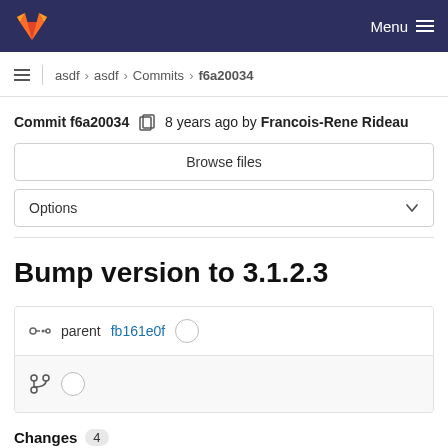Menu
asdf > asdf > Commits > f6a20034
Commit f6a20034  8 years ago by Francois-Rene Rideau
Browse files
Options
Bump version to 3.1.2.3
parent fb161e0f
Changes 4